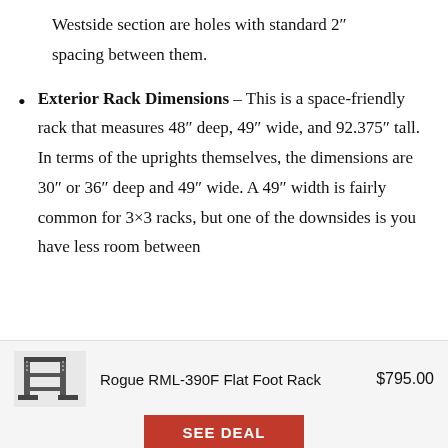Westside section are holes with standard 2″ spacing between them.
Exterior Rack Dimensions – This is a space-friendly rack that measures 48″ deep, 49″ wide, and 92.375″ tall. In terms of the uprights themselves, the dimensions are 30″ or 36″ deep and 49″ wide. A 49″ width is fairly common for 3×3 racks, but one of the downsides is you have less room between
[Figure (photo): Small image of the Rogue RML-390F Flat Foot Rack, a power rack with uprights and crossmembers, shown in a small thumbnail.]
Rogue RML-390F Flat Foot Rack    $795.00
SEE DEAL